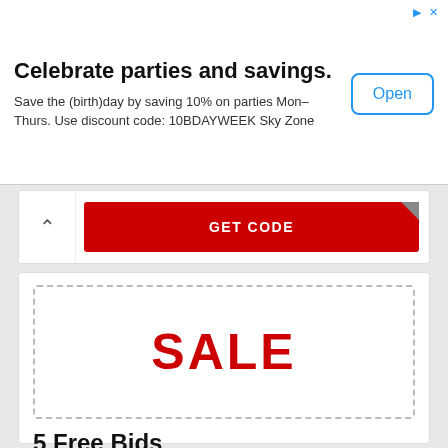[Figure (screenshot): Advertisement banner for Sky Zone with 'Celebrate parties and savings.' headline, subtitle about 10% discount code 10BDAYWEEK, and an Open button]
[Figure (screenshot): Partial coupon card showing a red GET CODE button with chevron/arrow indicator]
[Figure (screenshot): Coupon card with dashed border box showing SALE, title '5 Free Bids', description, times used, and GET CODE button]